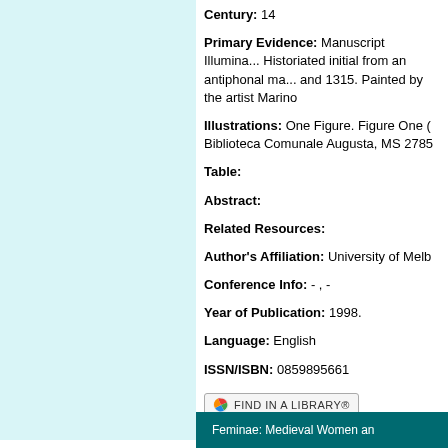Century: 14
Primary Evidence: Manuscript Illumination. Historiated initial from an antiphonal manuscript dated between 1310 and 1315. Painted by the artist Marino
Illustrations: One Figure. Figure One (1). Biblioteca Comunale Augusta, MS 2785
Table:
Abstract:
Related Resources:
Author's Affiliation: University of Melbourne
Conference Info: - , -
Year of Publication: 1998.
Language: English
ISSN/ISBN: 0859895661
[Figure (other): Find in a Library button with colorful pinwheel logo]
Feminae: Medieval Women an